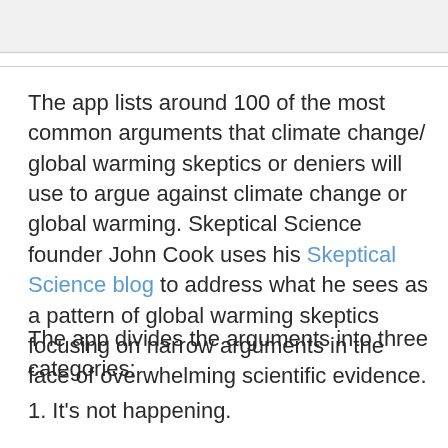The app lists around 100 of the most common arguments that climate change/ global warming skeptics or deniers will use to argue against climate change or global warming. Skeptical Science founder John Cook uses his Skeptical Science blog to address what he sees as a pattern of global warming skeptics focusing on narrow arguments in the face of overwhelming scientific evidence.
The app divides the arguments into three categories:
It's not happening.